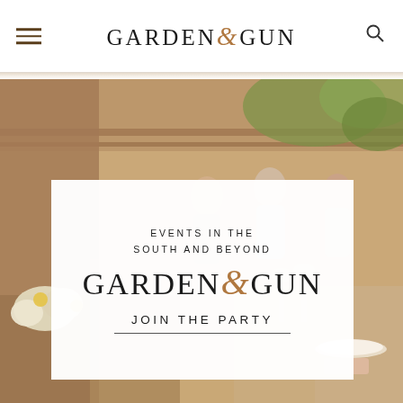Garden & Gun
[Figure (photo): Background photo of an elegant outdoor event/party with tables set with flowers and glassware, people mingling in the background in a rustic venue]
EVENTS IN THE SOUTH AND BEYOND — GARDEN & GUN — JOIN THE PARTY